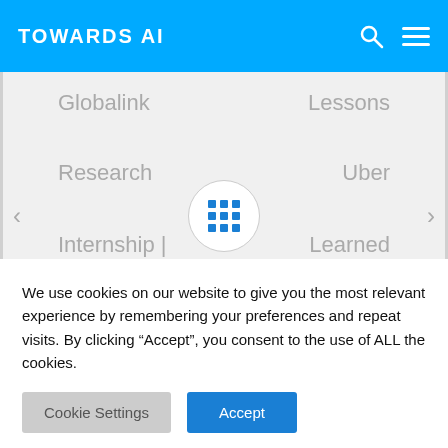TOWARDS AI
[Figure (screenshot): Website carousel showing article titles: Globalink, Research, Internship | How to get, Lessons, Uber, Learned, from. Center shows a grid icon button with left and right navigation arrows.]
We use cookies on our website to give you the most relevant experience by remembering your preferences and repeat visits. By clicking “Accept”, you consent to the use of ALL the cookies.
Cookie Settings  Accept